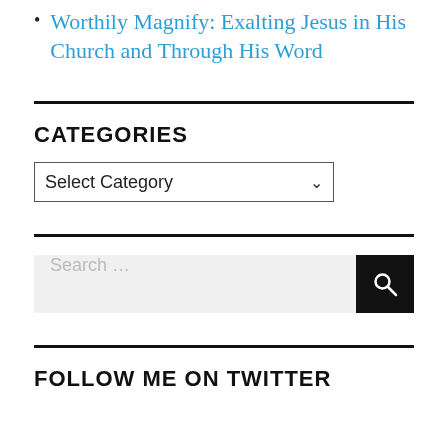Worthily Magnify: Exalting Jesus in His Church and Through His Word
CATEGORIES
Select Category
[Figure (other): Search bar with text 'Search ...' and a black button with a magnifying glass icon]
FOLLOW ME ON TWITTER